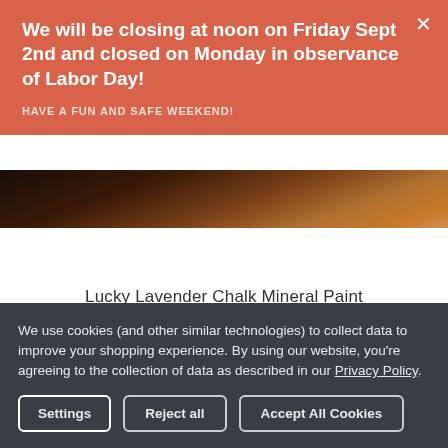We will be closing at noon on Friday Sept 2nd and closed on Monday in observance of Labor Day!
HAVE A FUN AND SAFE WEEKEND!
[Figure (photo): Dark brown wood or wicker texture image strip, partially visible beneath the orange notification banner]
Lucky Lavender Chalk Mineral Paint
We use cookies (and other similar technologies) to collect data to improve your shopping experience. By using our website, you're agreeing to the collection of data as described in our Privacy Policy.